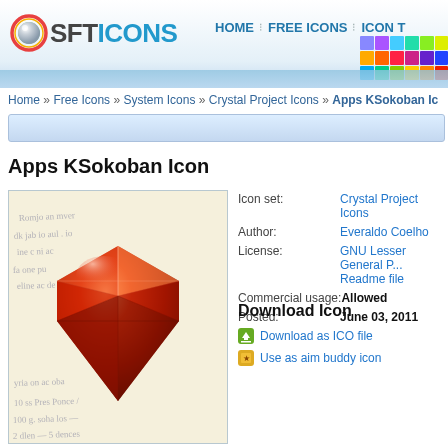SOFTICONS | HOME :: FREE ICONS :: ICON T...
Home » Free Icons » System Icons » Crystal Project Icons » Apps KSokoban Ic...
Apps KSokoban Icon
[Figure (illustration): Ruby/gem icon on handwritten paper background - red faceted diamond shape]
Icon set: Crystal Project Icons
Author: Everaldo Coelho
License: GNU Lesser General P... Readme file
Commercial usage: Allowed
Posted: June 03, 2011
Download Icon
Download as ICO file
Use as aim buddy icon